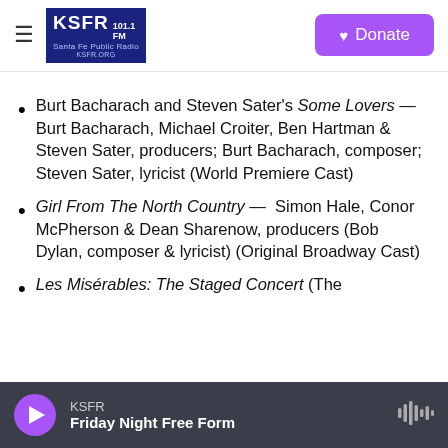KSFR 101.1 FM Santa Fe Public Radio | Donate
Burt Bacharach and Steven Sater's Some Lovers — Burt Bacharach, Michael Croiter, Ben Hartman & Steven Sater, producers; Burt Bacharach, composer; Steven Sater, lyricist (World Premiere Cast)
Girl From The North Country — Simon Hale, Conor McPherson & Dean Sharenow, producers (Bob Dylan, composer & lyricist) (Original Broadway Cast)
Les Misérables: The Staged Concert (The
KSFR | Friday Night Free Form